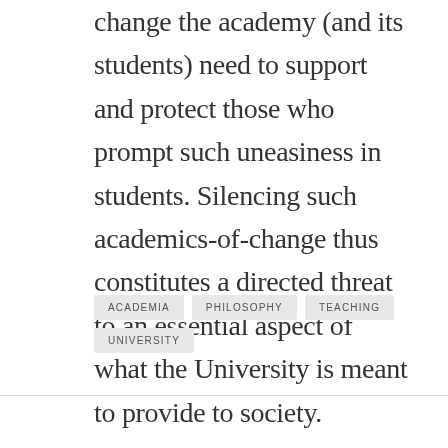change the academy (and its students) need to support and protect those who prompt such uneasiness in students. Silencing such academics-of-change thus constitutes a directed threat to an essential aspect of what the University is meant to provide to society.
ACADEMIA
PHILOSOPHY
TEACHING
UNIVERSITY